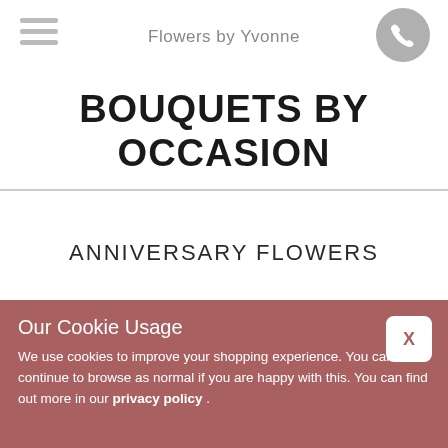Flowers by Yvonne
BOUQUETS BY OCCASION
ANNIVERSARY FLOWERS
Need to pull out all the stops to commemorate a milestone year or a special date? A sumptuous bouquet is ideal – and our anniversary flower bouquets and
Our Cookie Usage
We use cookies to improve your shopping experience. You can continue to browse as normal if you are happy with this. You can find out more in our privacy policy .